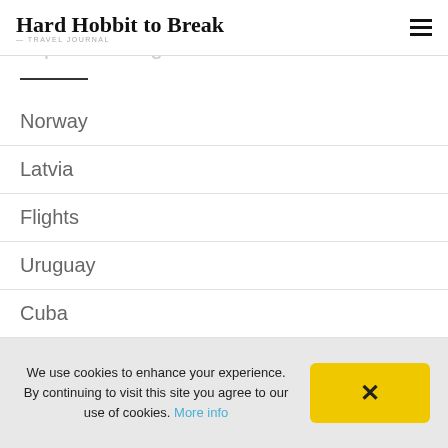Hard Hobbit to Break — Travel Journal
Popular Categories
Norway
Latvia
Flights
Uruguay
Cuba
We use cookies to enhance your experience. By continuing to visit this site you agree to our use of cookies. More info